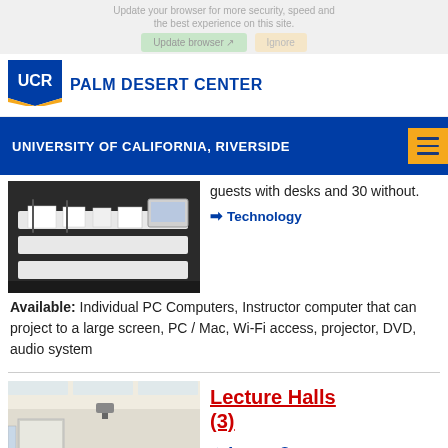Update your browser for more security, speed and the best experience on this site. Update browser | Ignore
[Figure (logo): UCR Palm Desert Center logo with UCR text in blue square and yellow chevron]
PALM DESERT CENTER
UNIVERSITY OF CALIFORNIA, RIVERSIDE
[Figure (photo): Photo of classroom desks with binders/papers on them]
guests with desks and 30 without.
→ Technology
Available: Individual PC Computers, Instructor computer that can project to a large screen, PC / Mac, Wi-Fi access, projector, DVD, audio system
[Figure (photo): Photo of lecture hall with rows of chairs and projector screen at front]
Lecture Halls (3)
→ Average Square